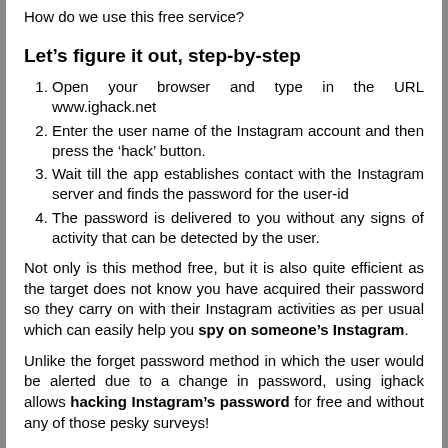How do we use this free service?
Let's figure it out, step-by-step
Open your browser and type in the URL www.ighack.net
Enter the user name of the Instagram account and then press the 'hack' button.
Wait till the app establishes contact with the Instagram server and finds the password for the user-id
The password is delivered to you without any signs of activity that can be detected by the user.
Not only is this method free, but it is also quite efficient as the target does not know you have acquired their password so they carry on with their Instagram activities as per usual which can easily help you spy on someone's Instagram.
Unlike the forget password method in which the user would be alerted due to a change in password, using ighack allows hacking Instagram's password for free and without any of those pesky surveys!